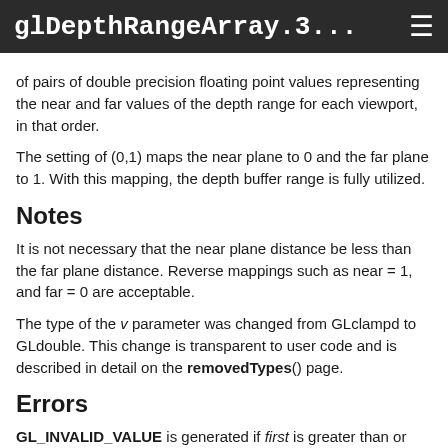glDepthRangeArray.3...
of pairs of double precision floating point values representing the near and far values of the depth range for each viewport, in that order.
The setting of (0,1) maps the near plane to 0 and the far plane to 1. With this mapping, the depth buffer range is fully utilized.
Notes
It is not necessary that the near plane distance be less than the far plane distance. Reverse mappings such as near = 1, and far = 0 are acceptable.
The type of the v parameter was changed from GLclampd to GLdouble. This change is transparent to user code and is described in detail on the removedTypes() page.
Errors
GL_INVALID_VALUE is generated if first is greater than or